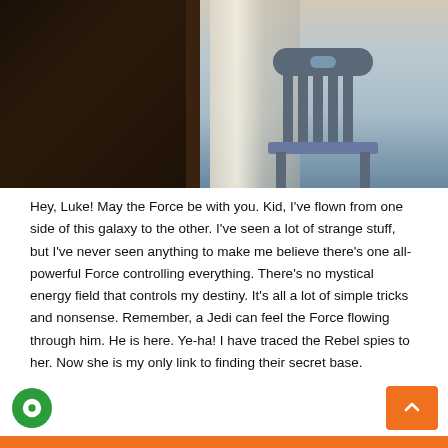[Figure (photo): Photograph of a wooden chair in front of dark-framed windows with curtains and a twilight/dawn sky outside]
Hey, Luke! May the Force be with you. Kid, I've flown from one side of this galaxy to the other. I've seen a lot of strange stuff, but I've never seen anything to make me believe there's one all-powerful Force controlling everything. There's no mystical energy field that controls my destiny. It's all a lot of simple tricks and nonsense. Remember, a Jedi can feel the Force flowing through him. He is here. Ye-ha! I have traced the Rebel spies to her. Now she is my only link to finding their secret base.